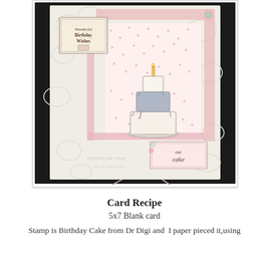[Figure (photo): A handmade birthday card displayed on a stand. The card features a layered birthday cake illustration with a candle on top, set on a cream embossed background with a pink floral/polka dot inner panel. A decorative label in the top-left reads 'Wonderful Birthday Wishes' and another label in the bottom-right reads 'eat cake'. The card is mounted on a dark background and propped on a metal easel stand.]
Card Recipe
5x7 Blank card
Stamp is Birthday Cake from Dr Digi and  I paper pieced it,using